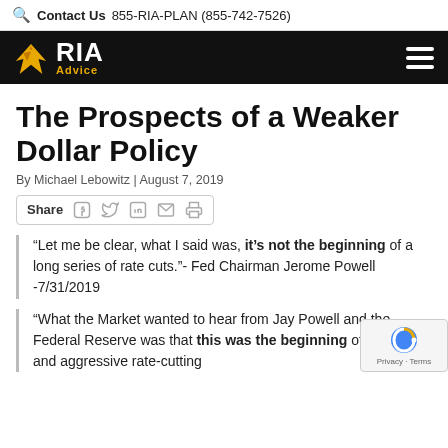Contact Us  855-RIA-PLAN (855-742-7526)
[Figure (logo): RIA Advice logo with eagle icon on black navigation bar]
The Prospects of a Weaker Dollar Policy
By Michael Lebowitz | August 7, 2019
Share
“Let me be clear, what I said was, it’s not the beginning of a long series of rate cuts.”- Fed Chairman Jerome Powell -7/31/2019
“What the Market wanted to hear from Jay Powell and the Federal Reserve was that this was the beginning of a lengthy and aggressive rate-cutting